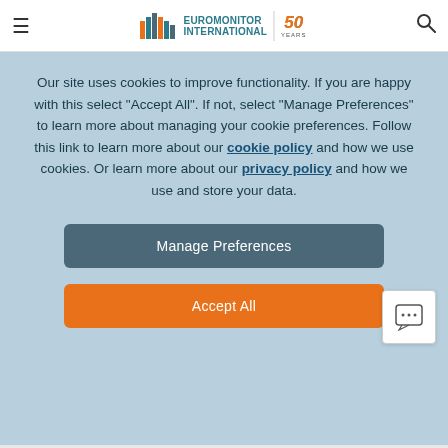Euromonitor International 50 Years
Our site uses cookies to improve functionality. If you are happy with this select "Accept All". If not, select "Manage Preferences" to learn more about managing your cookie preferences. Follow this link to learn more about our cookie policy and how we use cookies. Or learn more about our privacy policy and how we use and store your data.
Manage Preferences
Accept All
in 2021
Read More ▶